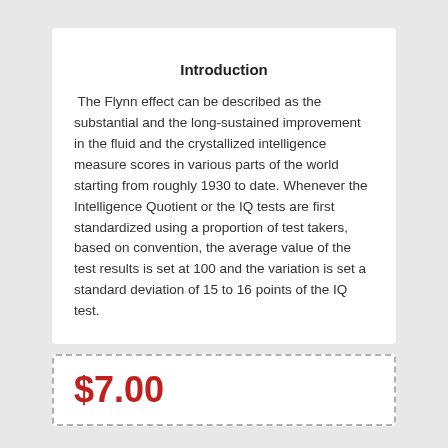Introduction
The Flynn effect can be described as the substantial and the long-sustained improvement in the fluid and the crystallized intelligence measure scores in various parts of the world starting from roughly 1930 to date. Whenever the Intelligence Quotient or the IQ tests are first standardized using a proportion of test takers, based on convention, the average value of the test results is set at 100 and the variation is set a standard deviation of 15 to 16 points of the IQ test.
$7.00